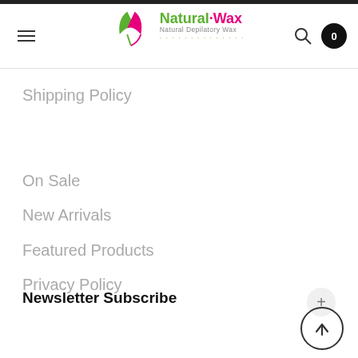Natural-Wax Natural Depilatory Wax — navigation header with hamburger menu, logo, search icon, and cart badge (0)
Shipping Policy
On Sale
New Arrivals
Featured Products
Privacy Policy
Newsletter Subscribe